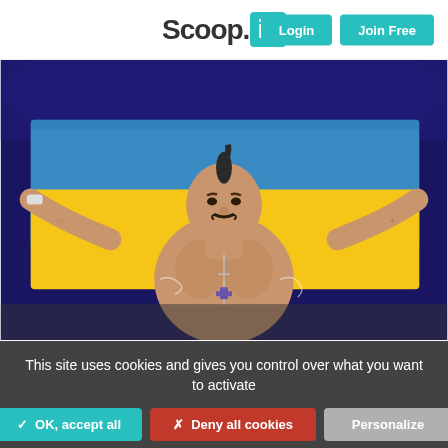Scoop.it! — Login | Join Free
[Figure (photo): A shirtless boxer holding a Ukrainian flag (blue and yellow) spread behind him with both arms outstretched, wearing a cross necklace, with a mohawk hairstyle, standing in front of a dark crowd background. The photo appears to be autographed.]
This site uses cookies and gives you control over what you want to activate
✓ OK, accept all
✗ Deny all cookies
Personalize
Privacy policy